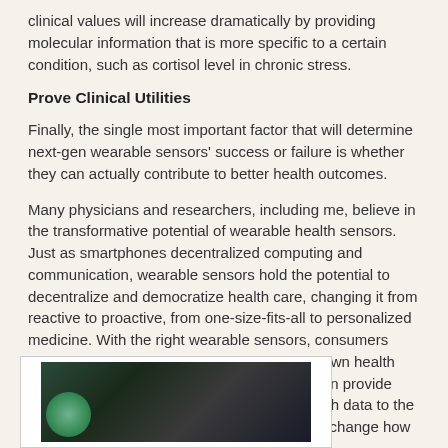clinical values will increase dramatically by providing molecular information that is more specific to a certain condition, such as cortisol level in chronic stress.
Prove Clinical Utilities
Finally, the single most important factor that will determine next-gen wearable sensors' success or failure is whether they can actually contribute to better health outcomes.
Many physicians and researchers, including me, believe in the transformative potential of wearable health sensors. Just as smartphones decentralized computing and communication, wearable sensors hold the potential to decentralize and democratize health care, changing it from reactive to proactive, from one-size-fits-all to personalized medicine. With the right wearable sensors, consumers gain the power to continuously monitor their own health status; at doctor's appointment, the patient can provide both quantitative baseline and abnormal health data to the physician. This scenario could fundamentally change how health care is delivered.
[Figure (photo): A partially visible photo showing a dark background with a green circular element in the lower left, appearing to be a wearable health sensor device.]